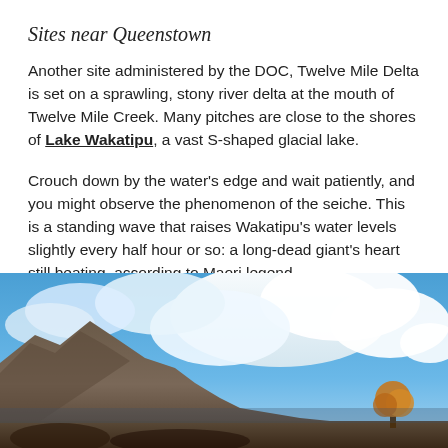Sites near Queenstown
Another site administered by the DOC, Twelve Mile Delta is set on a sprawling, stony river delta at the mouth of Twelve Mile Creek. Many pitches are close to the shores of Lake Wakatipu, a vast S-shaped glacial lake.
Crouch down by the water's edge and wait patiently, and you might observe the phenomenon of the seiche. This is a standing wave that raises Wakatipu's water levels slightly every half hour or so: a long-dead giant's heart still beating, according to Maori legend.
[Figure (photo): Landscape photograph showing rocky mountain peaks under a dramatic blue sky with large white clouds, with autumn-coloured trees visible at the bottom right.]